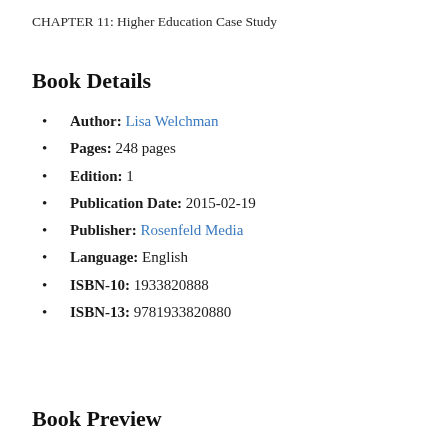CHAPTER 11: Higher Education Case Study
Book Details
Author: Lisa Welchman
Pages: 248 pages
Edition: 1
Publication Date: 2015-02-19
Publisher: Rosenfeld Media
Language: English
ISBN-10: 1933820888
ISBN-13: 9781933820880
Book Preview